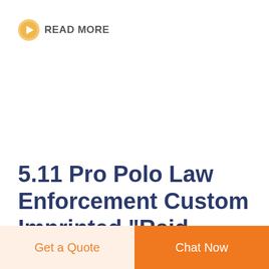READ MORE
5.11 Pro Polo Law Enforcement Custom Imprinted "Raid ...
5.11 Pro Polo Law Enforcement Custom Imprinted
Get a Quote
Chat Now